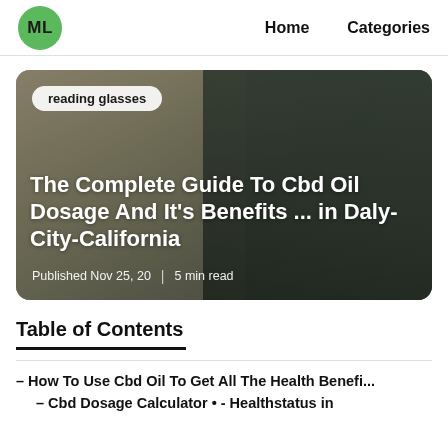ML | Home | Categories
[Figure (photo): Hero card with photo of person lying down, with tag 'reading glasses', title 'The Complete Guide To Cbd Oil Dosage And It's Benefits ... in Daly-City-California', and metadata 'Published Nov 25, 20 | 5 min read']
Table of Contents
– How To Use Cbd Oil To Get All The Health Benefi...
– Cbd Dosage Calculator • - Healthstatus in